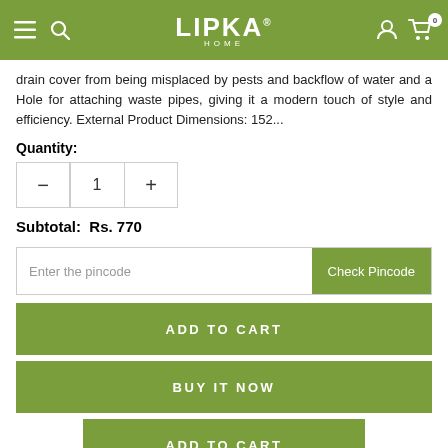LIPKA HOME — navigation bar with hamburger menu, search, logo, user icon, and cart (0)
drain cover from being misplaced by pests and backflow of water and a Hole for attaching waste pipes, giving it a modern touch of style and efficiency. External Product Dimensions: 152...
Quantity:
1
Subtotal: Rs. 770
Enter the pincode
Check Pincode
ADD TO CART
BUY IT NOW
ADD TO CART